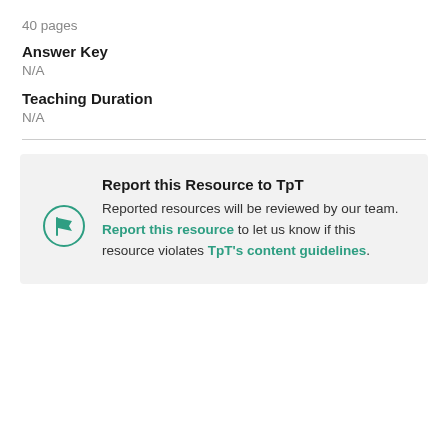40 pages
Answer Key
N/A
Teaching Duration
N/A
Report this Resource to TpT
Reported resources will be reviewed by our team. Report this resource to let us know if this resource violates TpT's content guidelines.